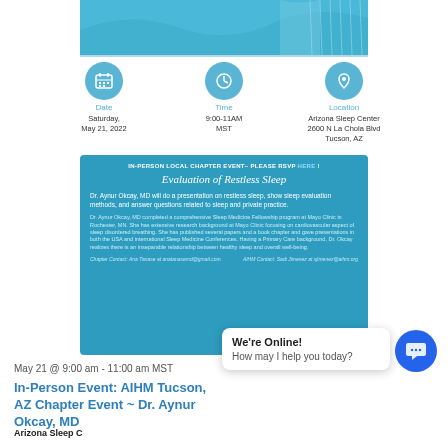[Figure (illustration): Blue decorative header image with wave/abstract design]
Date
Saturday, May 21, 2022
Time
9:00-11AM MST
Location
Arizona Sleep Center
2600 N La Chola Blvd
Tucson, AZ
[Figure (infographic): Blue box with event details: IN-PERSON LOCAL CHAPTER EVENT - PLEASE RSVP HERE | Evaluation of Restless Sleep. Descriptions of Dr. Aynur Okcay MD presentation and biography.]
May 21 @ 9:00 am - 11:00 am MST
In-Person Event: AIHM Tucson, AZ Chapter Event ~ Dr. Aynur Okcay, MD
Arizona Sleep Center
June 2022